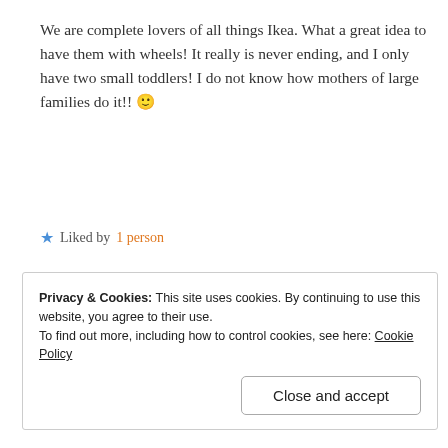We are complete lovers of all things Ikea. What a great idea to have them with wheels! It really is never ending, and I only have two small toddlers! I do not know how mothers of large families do it!! 🙂
★ Liked by 1 person
Reply
[Figure (other): Black redacted advertisement banner with REPORT THIS AD label]
Privacy & Cookies: This site uses cookies. By continuing to use this website, you agree to their use. To find out more, including how to control cookies, see here: Cookie Policy
Close and accept